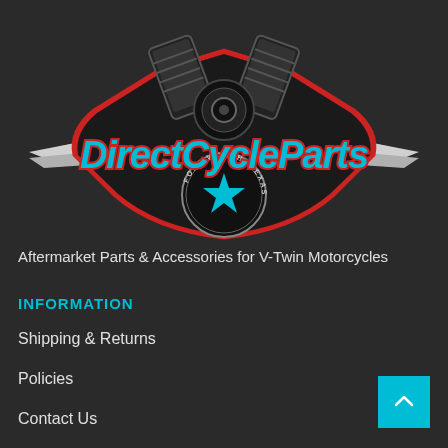[Figure (logo): Direct Cycle Parts logo with V-twin motorcycle engine above, teal text reading 'DirectCycleParts' with red outline, wings extending left and right, circular badge at bottom reading 'Fort Worth, Texas' with a teal star]
Aftermarket Parts & Accessories for V-Twin Motorcycles
INFORMATION
Shipping & Returns
Policies
Contact Us